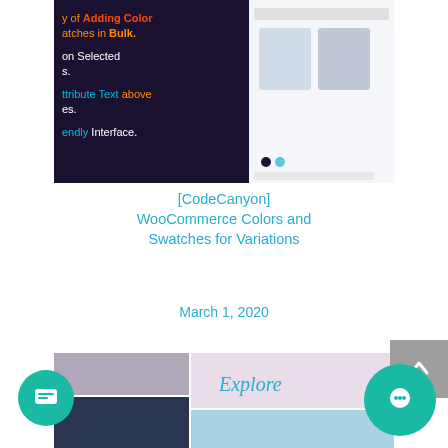[Figure (screenshot): Partial screenshot of WooCommerce Colors and Swatches plugin page with dark background and product images]
[CodeCanyon] WooCommerce Colors and Swatches for Variations
March 1, 2020
[Figure (screenshot): Screenshot of Travex Travel Agency Modern WordPress Theme - collage of travel images, beachside and landscape photos]
[Codester] - Travex - Travel Agency Modern WordPress Theme - Freebies Download
October 2, 2019